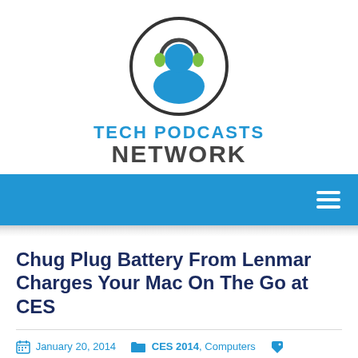[Figure (logo): Tech Podcasts Network logo: circular icon with a blue figure wearing headphones with green earpieces, inside a dark circle outline, above bold text 'TECH PODCASTS' in blue and 'NETWORK' in dark gray]
[Figure (infographic): Blue navigation bar with white hamburger menu icon (three horizontal lines) on the right]
Chug Plug Battery From Lenmar Charges Your Mac On The Go at CES
January 20, 2014   CES 2014, Computers   battery, Chris Davis, Chug Plug, computer, laptop, Lenmar, mac   Jamie Davis